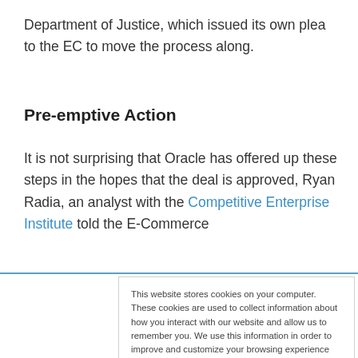Department of Justice, which issued its own plea to the EC to move the process along.
Pre-emptive Action
It is not surprising that Oracle has offered up these steps in the hopes that the deal is approved, Ryan Radia, an analyst with the Competitive Enterprise Institute told the E-Commerce
This website stores cookies on your computer. These cookies are used to collect information about how you interact with our website and allow us to remember you. We use this information in order to improve and customize your browsing experience and for analytics and metrics about our visitors both on this website and other media. To find out more about the cookies we use, see our Privacy Policy. California residents have the right to direct us not to sell their personal information to third parties by filing an Opt-Out Request: Do Not Sell My Personal Info.
Accept